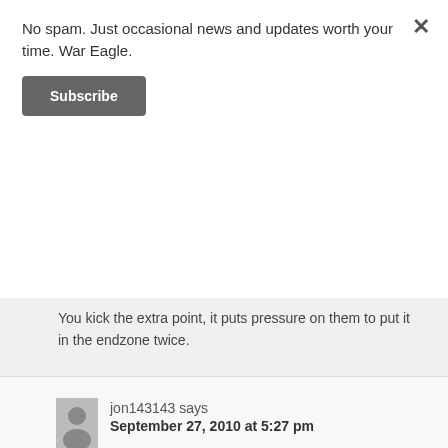No spam. Just occasional news and updates worth your time. War Eagle.
Subscribe
You kick the extra point, it puts pressure on them to put it in the endzone twice.
At that point in the game with that much time left we knew we were going to get the ball again.
jon143143 says
September 27, 2010 at 5:27 pm